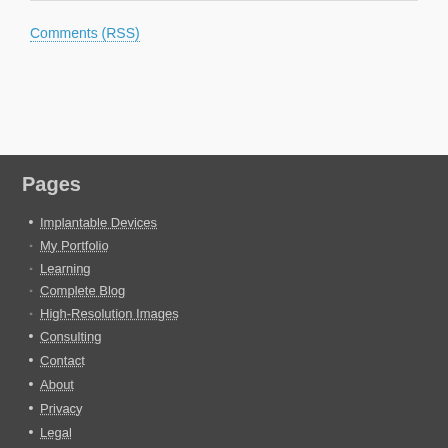Comments (RSS)
Pages
Implantable Devices
My Portfolio
Learning
Complete Blog
High-Resolution Images
Consulting
Contact
About
Privacy
Legal
Archives